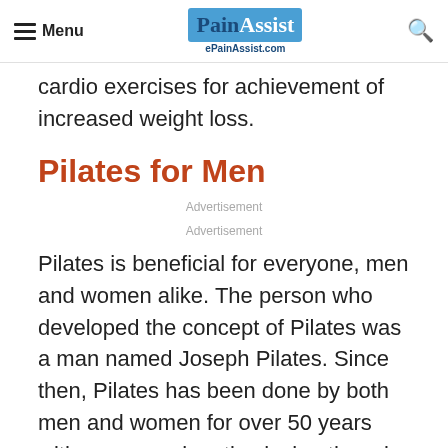Menu | PainAssist ePainAssist.com | [search]
cardio exercises for achievement of increased weight loss.
Pilates for Men
Advertisement
Advertisement
Pilates is beneficial for everyone, men and women alike. The person who developed the concept of Pilates was a man named Joseph Pilates. Since then, Pilates has been done by both men and women for over 50 years with men prominently playing the role of instructors and promoters of